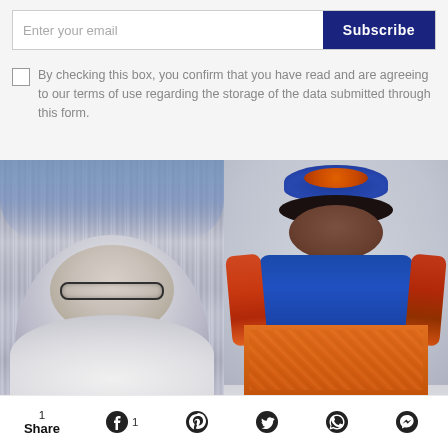Enter your email
Subscribe
By checking this box, you confirm that you have read and are agreeing to our terms of use regarding the storage of the data submitted through this form.
[Figure (photo): Left photo: An older woman with white hair and large glasses, wearing a white ruffled outfit, surrounded by silver tinsel curtains and blue balloon letters in the background.]
[Figure (photo): Right photo: A young Black woman wearing a colorful blue, orange, and floral outfit with an elaborate blue headpiece, posing against a grey textured background.]
1
Share
1